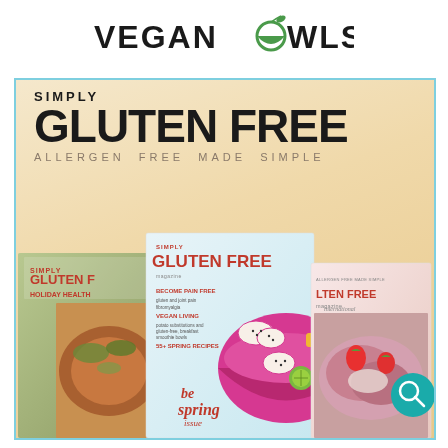[Figure (logo): VEGANBOWLS logo with a leaf/bowl icon replacing the 'O' in BOWLS, in bold black sans-serif uppercase letters]
[Figure (illustration): Advertisement for Simply Gluten Free magazine showing the logo text 'SIMPLY GLUTEN FREE / ALLERGEN FREE MADE SIMPLE' on a warm beige-gold gradient background, with three overlapping magazine covers at the bottom featuring food photography including roasted meats, dragon fruit smoothie bowls, and berry crepes. A teal search icon appears in the lower right corner. The whole ad is bordered with a light blue/teal border.]